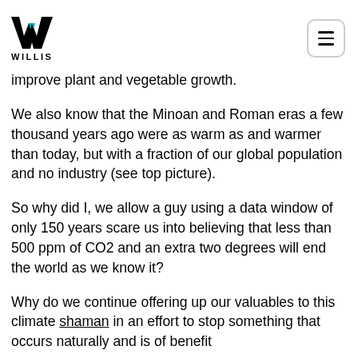WILLIS
improve plant and vegetable growth.
We also know that the Minoan and Roman eras a few thousand years ago were as warm as and warmer than today, but with a fraction of our global population and no industry (see top picture).
So why did I, we allow a guy using a data window of only 150 years scare us into believing that less than 500 ppm of CO2 and an extra two degrees will end the world as we know it?
Why do we continue offering up our valuables to this climate shaman in an effort to stop something that occurs naturally and is of benefit